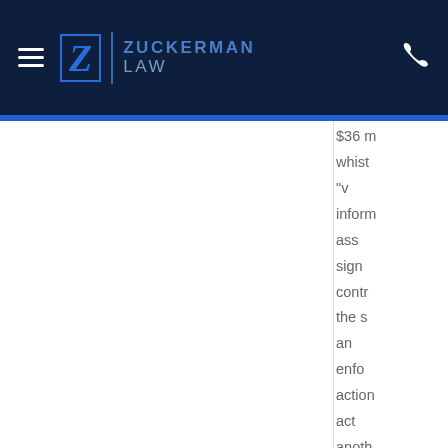Zuckerman Law
$36 m whist "v inform ass sign contr the s an enfo action act anoth ag Accor SEC re